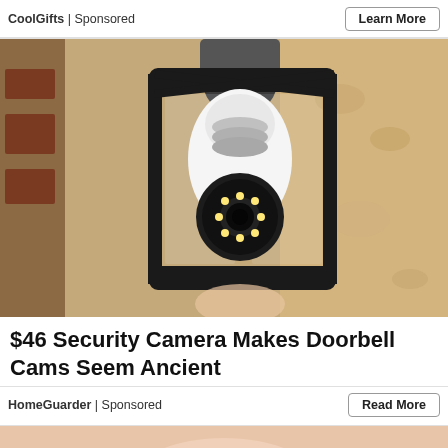CoolGifts | Sponsored
Learn More
[Figure (photo): A security camera shaped like a light bulb installed inside an outdoor wall-mounted lantern fixture on a textured stucco wall. The camera has LED lights and a lens at the bottom.]
$46 Security Camera Makes Doorbell Cams Seem Ancient
HomeGuarder | Sponsored
Read More
[Figure (photo): Partial image of a second advertisement at the bottom, showing what appears to be hands or fingers.]